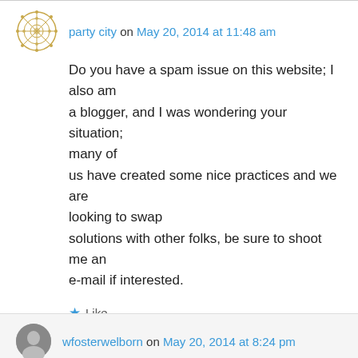party city on May 20, 2014 at 11:48 am
Do you have a spam issue on this website; I also am a blogger, and I was wondering your situation; many of us have created some nice practices and we are looking to swap solutions with other folks, be sure to shoot me an e-mail if interested.
Like
Reply
wfosterwelborn on May 20, 2014 at 8:24 pm